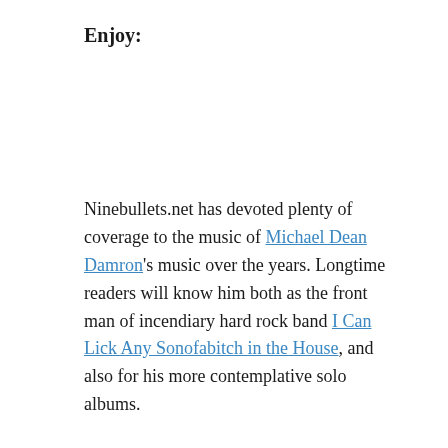Enjoy:
Ninebullets.net has devoted plenty of coverage to the music of Michael Dean Damron's music over the years. Longtime readers will know him both as the front man of incendiary hard rock band I Can Lick Any Sonofabitch in the House, and also for his more contemplative solo albums.
Mike D's home base is Portland, and so as a Seattle-area resident, I've been lucky to have